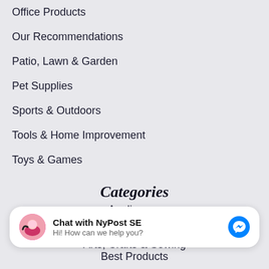Office Products
Our Recommendations
Patio, Lawn & Garden
Pet Supplies
Sports & Outdoors
Tools & Home Improvement
Toys & Games
Categories
Appliances
Apps & Games
Arts, Crafts & Sewing
Best Products